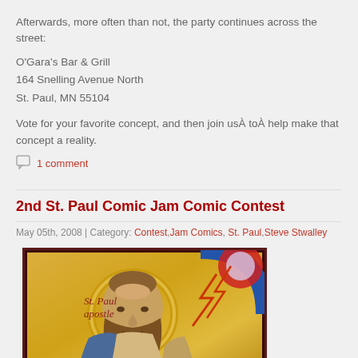Afterwards, more often than not, the party continues across the street:
O'Gara's Bar & Grill
164 Snelling Avenue North
St. Paul, MN 55104
Vote for your favorite concept, and then join usÀ toÀ help make that concept a reality.
1 comment
2nd St. Paul Comic Jam Comic Contest
May 05th, 2008 | Category: Contest, Jam Comics, St. Paul, Steve Stwalley
[Figure (illustration): Religious icon painting of St. Paul the Apostle against a gold background, with halo, beard, and text reading 'St. Paul Apostle' with lightning bolt imagery in upper right]